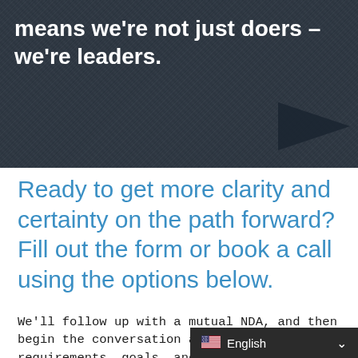[Figure (photo): Dark textured hero image with overlaid white bold text reading 'means we’re not just doers – we’re leaders.' and a dark arrow shape bottom right]
Ready to get more clarity and certainty on the path forward? Fill out the form or book a call using the options below.
We’ll follow up with a mutual NDA, and then begin the conversation about your requirements, goals, and needs. Finally, we’ll work together to